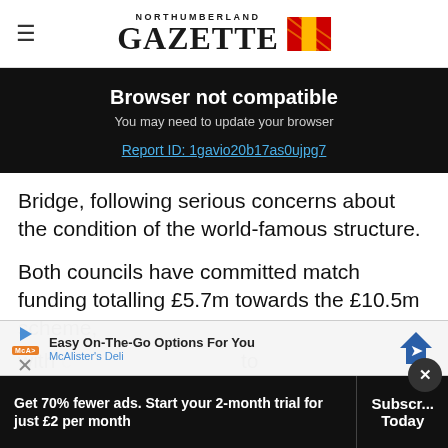NORTHUMBERLAND GAZETTE
[Figure (screenshot): Browser not compatible banner with dark background. Title: 'Browser not compatible'. Subtitle: 'You may need to update your browser'. Link: 'Report ID: 1gavio20b17as0ujpg7']
Bridge, following serious concerns about the condition of the world-famous structure.
Both councils have committed match funding totalling £5.7m towards the £10.5m scheme, with...to be pr...n
[Figure (screenshot): Ad banner: 'Easy On-The-Go Options For You' from McAlister's Deli]
Get 70% fewer ads. Start your 2-month trial for just £2 per month   Subscribe Today